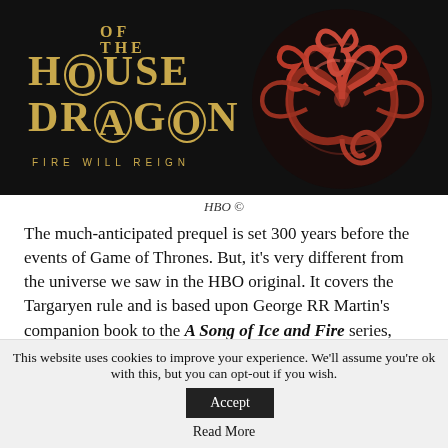[Figure (photo): House of the Dragon promotional image. Black background with gold 'HOUSE OF THE DRAGON' title text and 'FIRE WILL REIGN' tagline on the left, and a red/copper three-headed dragon sigil on the right.]
HBO ©
The much-anticipated prequel is set 300 years before the events of Game of Thrones. But, it's very different from the universe we saw in the HBO original. It covers the Targaryen rule and is based upon George RR Martin's companion book to the A Song of Ice and Fire series, Fire
This website uses cookies to improve your experience. We'll assume you're ok with this, but you can opt-out if you wish. Accept
Read More